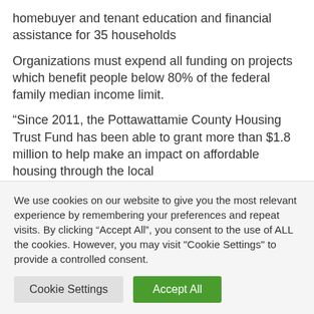homebuyer and tenant education and financial assistance for 35 households
Organizations must expend all funding on projects which benefit people below 80% of the federal family median income limit.
“Since 2011, the Pottawattamie County Housing Trust Fund has been able to grant more than $1.8 million to help make an impact on affordable housing through the local
We use cookies on our website to give you the most relevant experience by remembering your preferences and repeat visits. By clicking “Accept All”, you consent to the use of ALL the cookies. However, you may visit "Cookie Settings" to provide a controlled consent.